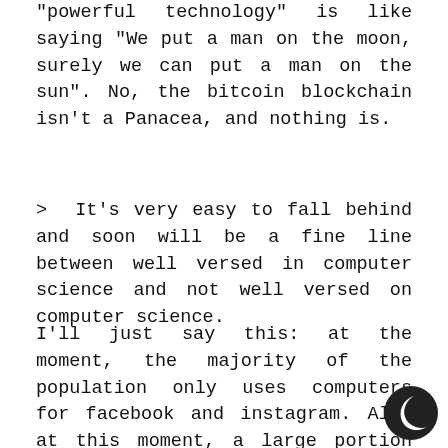"powerful technology" is like saying "We put a man on the moon, surely we can put a man on the sun". No, the bitcoin blockchain isn't a Panacea, and nothing is.
> It's very easy to fall behind and soon will be a fine line between well versed in computer science and not well versed on computer science.
I'll just say this: at the moment, the majority of the population only uses computers for facebook and instagram. Also at this moment, a large portion of software developers are overly proud hipsters who barley understand one programming language and can write web apps. That future is pretty far, and the reality is much more complicated than you presented.